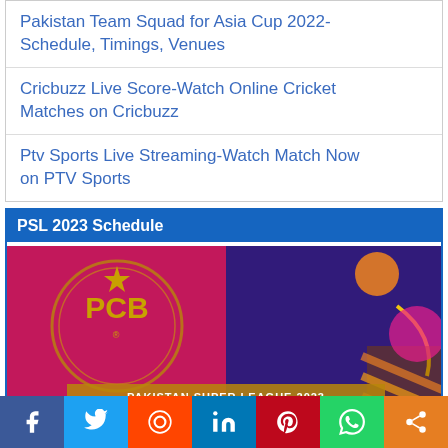Pakistan Team Squad for Asia Cup 2022- Schedule, Timings, Venues
Cricbuzz Live Score-Watch Online Cricket Matches on Cricbuzz
Ptv Sports Live Streaming-Watch Match Now on PTV Sports
PSL 2023 Schedule
[Figure (photo): PSL 2023 schedule promotional image showing PCB logo on pink/purple background with Pakistan Super League 2023 banner and team flags, dated 20 Feb - 21 Mar]
[Figure (infographic): Social media share bar with Facebook, Twitter, Reddit, LinkedIn, Pinterest, WhatsApp, and More buttons]